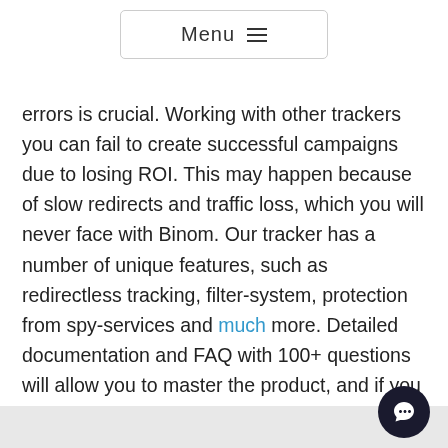Menu ≡
errors is crucial. Working with other trackers you can fail to create successful campaigns due to losing ROI. This may happen because of slow redirects and traffic loss, which you will never face with Binom. Our tracker has a number of unique features, such as redirectless tracking, filter-system, protection from spy-services and much more. Detailed documentation and FAQ with 100+ questions will allow you to master the product, and if you require assistance, feel free to contact our support. All our clients agree, that we have the best support among trackers.